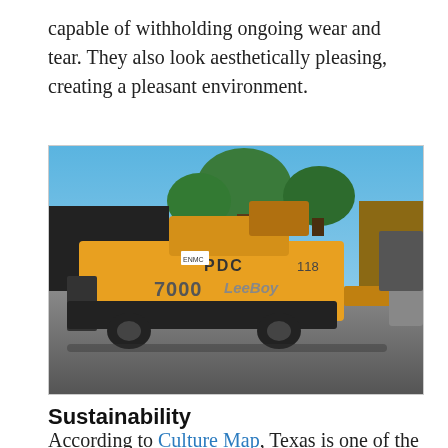capable of withholding ongoing wear and tear. They also look aesthetically pleasing, creating a pleasant environment.
[Figure (photo): A yellow Lee Boy 7000 asphalt paver machine parked in a lot with trees and blue sky in the background. The machine has 'PDC' and '7000 LeeBoy' markings visible. A trailer is partially visible on the right side.]
Sustainability
According to Culture Map, Texas is one of the worst